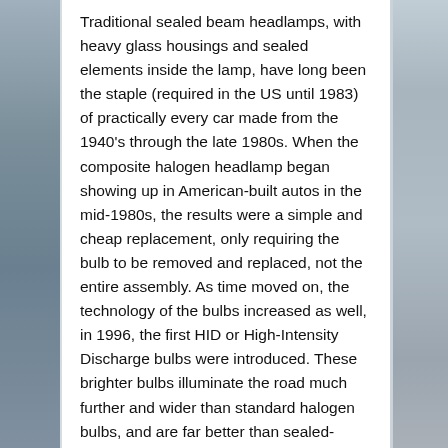Traditional sealed beam headlamps, with heavy glass housings and sealed elements inside the lamp, have long been the staple (required in the US until 1983) of practically every car made from the 1940's through the late 1980s. When the composite halogen headlamp began showing up in American-built autos in the mid-1980s, the results were a simple and cheap replacement, only requiring the bulb to be removed and replaced, not the entire assembly. As time moved on, the technology of the bulbs increased as well, in 1996, the first HID or High-Intensity Discharge bulbs were introduced. These brighter bulbs illuminate the road much further and wider than standard halogen bulbs, and are far better than sealed-beam headlights.
While Halogen is the main gas used in OE and